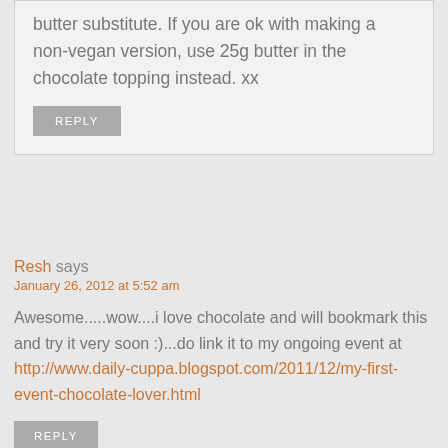butter substitute. If you are ok with making a non-vegan version, use 25g butter in the chocolate topping instead. xx
REPLY
Resh says
January 26, 2012 at 5:52 am
Awesome.....wow....i love chocolate and will bookmark this and try it very soon :)...do link it to my ongoing event at http://www.daily-cuppa.blogspot.com/2011/12/my-first-event-chocolate-lover.html
REPLY